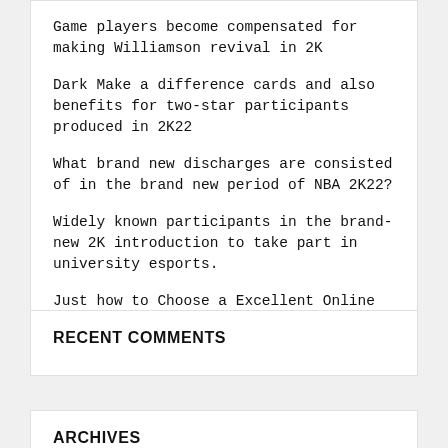Game players become compensated for making Williamson revival in 2K
Dark Make a difference cards and also benefits for two-star participants produced in 2K22
What brand new discharges are consisted of in the brand new period of NBA 2K22?
Widely known participants in the brand-new 2K introduction to take part in university esports.
Just how to Choose a Excellent Online Stock to Buying Secure Lost Ark Gold?
RECENT COMMENTS
ARCHIVES